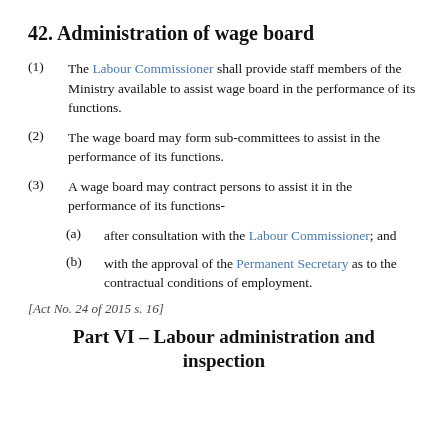42. Administration of wage board
(1) The Labour Commissioner shall provide staff members of the Ministry available to assist wage board in the performance of its functions.
(2) The wage board may form sub-committees to assist in the performance of its functions.
(3) A wage board may contract persons to assist it in the performance of its functions-
(a) after consultation with the Labour Commissioner; and
(b) with the approval of the Permanent Secretary as to the contractual conditions of employment.
[Act No. 24 of 2015 s. 16]
Part VI – Labour administration and inspection